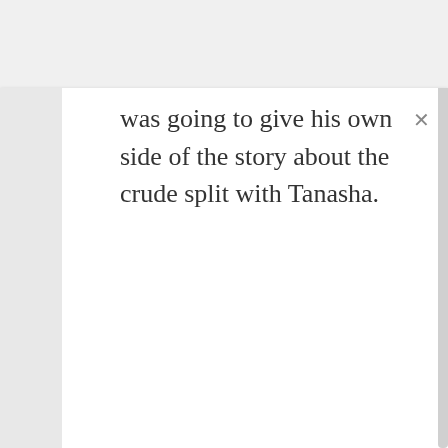was going to give his own side of the story about the crude split with Tanasha.